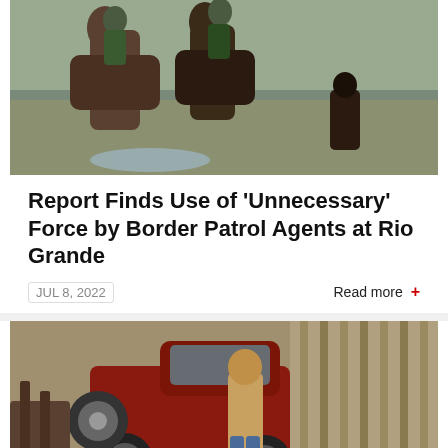[Figure (photo): Border patrol agents on horseback at the Rio Grande, confronting migrants]
Report Finds Use of ‘Unnecessary’ Force by Border Patrol Agents at Rio Grande
JUL 8, 2022
Read more +
[Figure (photo): A man standing next to a red SUV/truck outdoors near a wooden fence]
Undocumented and Unhoused (A